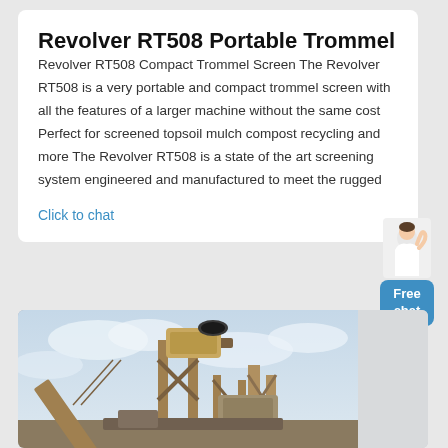Revolver RT508 Portable Trommel
Revolver RT508 Compact Trommel Screen The Revolver RT508 is a very portable and compact trommel screen with all the features of a larger machine without the same cost Perfect for screened topsoil mulch compost recycling and more The Revolver RT508 is a state of the art screening system engineered and manufactured to meet the rugged
Click to chat
[Figure (photo): Photograph of a trommel screen or conveyor/crushing machine on a construction or quarry site against a partly cloudy sky]